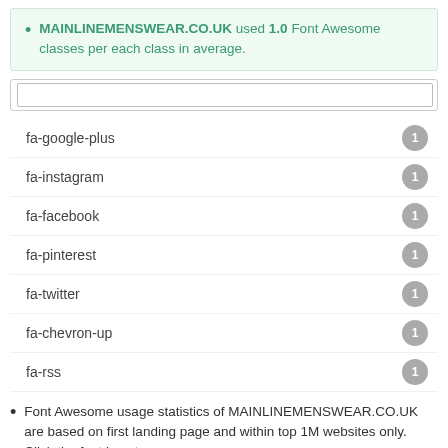MAINLINEMENSWEAR.CO.UK used 1.0 Font Awesome classes per each class in average.
[Figure (screenshot): Search input box UI element]
fa-google-plus 1
fa-instagram 1
fa-facebook 1
fa-pinterest 1
fa-twitter 1
fa-chevron-up 1
fa-rss 1
Font Awesome usage statistics of MAINLINEMENSWEAR.CO.UK are based on first landing page and within top 1M websites only. Click the font icon to